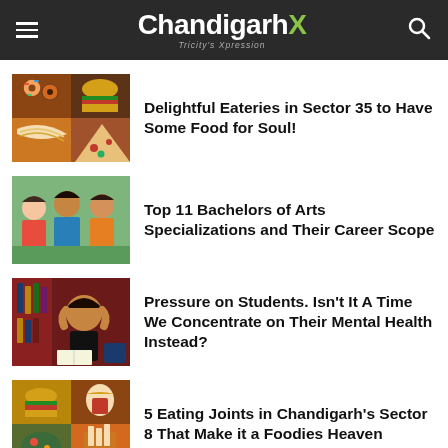ChandigarhX — Tricity's Xpression
Delightful Eateries in Sector 35 to Have Some Food for Soul!
Top 11 Bachelors of Arts Specializations and Their Career Scope
Pressure on Students. Isn't It A Time We Concentrate on Their Mental Health Instead?
5 Eating Joints in Chandigarh's Sector 8 That Make it a Foodies Heaven